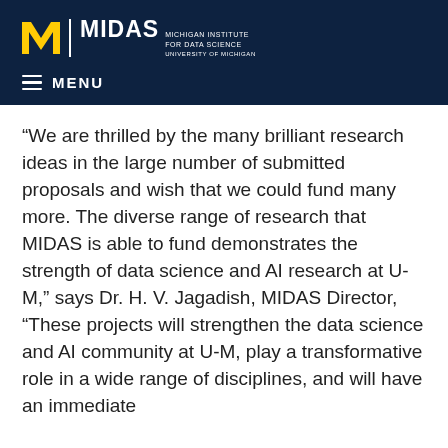[Figure (logo): MIDAS Michigan Institute for Data Science, University of Michigan logo with block M on dark navy background]
≡ MENU
“We are thrilled by the many brilliant research ideas in the large number of submitted proposals and wish that we could fund many more. The diverse range of research that MIDAS is able to fund demonstrates the strength of data science and AI research at U-M,” says Dr. H. V. Jagadish, MIDAS Director, “These projects will strengthen the data science and AI community at U-M, play a transformative role in a wide range of disciplines, and will have an immediate